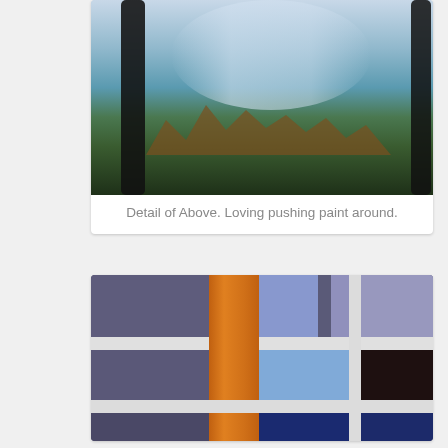[Figure (photo): Close-up detail of a painting showing a landscape with dark tree silhouettes on either side, mountains in the middle distance, a teal/blue sky with a light cloud area, and dark green foreground vegetation.]
Detail of Above. Loving pushing paint around.
[Figure (photo): Close-up detail of an abstract painting featuring a grid-like composition with a vertical orange stripe, horizontal and vertical white lines dividing the canvas into rectangles of blue-gray, sky blue, dark brown/black, and navy blue colors.]